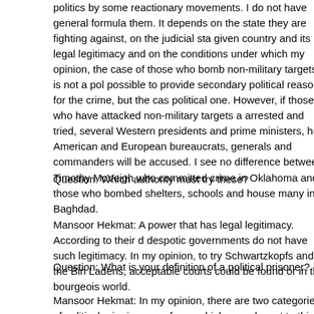politics by some reactionary movements. I do not have general formula them. It depends on the state they are fighting against, on the judicial sta given country and its legal legitimacy and on the conditions under which my opinion, the case of those who bomb non-military targets is not a pol possible to provide secondary political reasons for the crime, but the cas political one. However, if those who have attacked non-military targets a arrested and tried, several Western presidents and prime ministers, hun American and European bureaucrats, generals and commanders will be accused. I see no difference between Timothy McVeigh who committed crime in Oklahoma and those who bombed shelters, schools and house many in Baghdad.
Question: Which authority must try these?
Mansoor Hekmat: A power that has legal legitimacy. According to their d despotic governments do not have such legitimacy. In my opinion, to try Schwartzkopfs and the Bin Ladens, acceptable courts could be found or in this bourgeois world.
Question: What is your definition of a political prisoner?
Mansoor Hekmat: In my opinion, there are two categories of political pri prisoners of war, which are relevant to this discussion. A political prisone who is in prison for opposing a government. Accordingly political prisoner And: There should be a court which forms and the court and the conditions